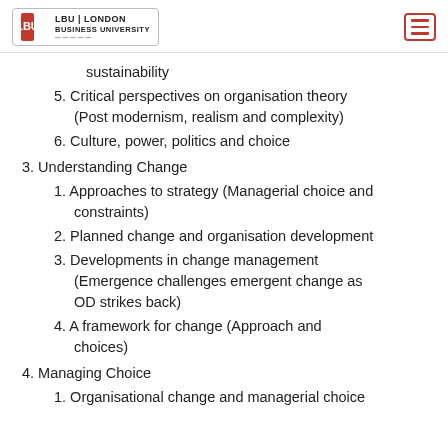LBU | LONDON BUSINESS UNIVERSITY
sustainability
5. Critical perspectives on organisation theory (Post modernism, realism and complexity)
6. Culture, power, politics and choice
3. Understanding Change
1. Approaches to strategy (Managerial choice and constraints)
2. Planned change and organisation development
3. Developments in change management (Emergence challenges emergent change as OD strikes back)
4. A framework for change (Approach and choices)
4. Managing Choice
1. Organisational change and managerial choice